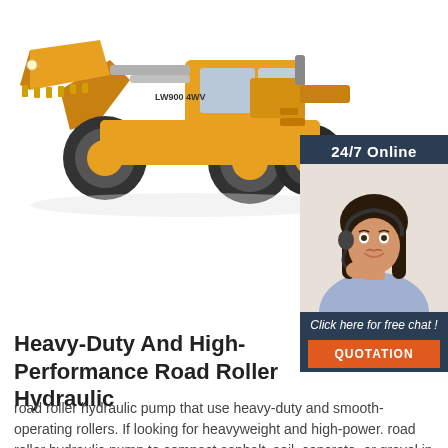[Figure (photo): Yellow heavy-duty wheel loader / road roller construction machine on white background]
[Figure (illustration): 24/7 Online chat widget with dark navy background. Shows a female customer service representative wearing a headset and smiling, with 'Click here for free chat!' text and an orange QUOTATION button.]
Heavy-Duty And High-Performance Road Roller Hydraulic
road roller hydraulic pump that use heavy-duty and smooth-operating rollers. If looking for heavyweight and high-power. road roller hydraulic pump to compact asphalt, soil, concrete, or gravel in construction,